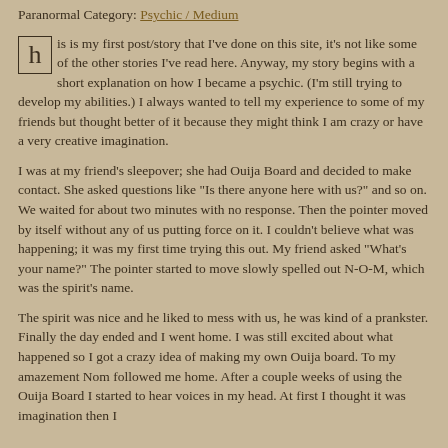Paranormal Category: Psychic / Medium
his is my first post/story that I've done on this site, it's not like some of the other stories I've read here. Anyway, my story begins with a short explanation on how I became a psychic. (I'm still trying to develop my abilities.) I always wanted to tell my experience to some of my friends but thought better of it because they might think I am crazy or have a very creative imagination.
I was at my friend's sleepover; she had Ouija Board and decided to make contact. She asked questions like "Is there anyone here with us?" and so on. We waited for about two minutes with no response. Then the pointer moved by itself without any of us putting force on it. I couldn't believe what was happening; it was my first time trying this out. My friend asked "What's your name?" The pointer started to move slowly spelled out N-O-M, which was the spirit's name.
The spirit was nice and he liked to mess with us, he was kind of a prankster. Finally the day ended and I went home. I was still excited about what happened so I got a crazy idea of making my own Ouija board. To my amazement Nom followed me home. After a couple weeks of using the Ouija Board I started to hear voices in my head. At first I thought it was imagination then I